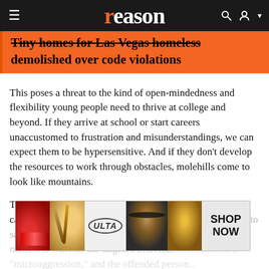reason
Tiny homes for Las Vegas homeless demolished over code violations
This poses a threat to the kind of open-mindedness and flexibility young people need to thrive at college and beyond. If they arrive at school or start careers unaccustomed to frustration and misunderstandings, we can expect them to be hypersensitive. And if they don't develop the resources to work through obstacles, molehills come to look like mountains.
This magnification of danger and hurt is prevalent on campus today. It no longer matters what a person intended to say, or how a reasonable listener would interpret it. What matters is whether the targeted individual...committed a 'microaggression,' and the offended person...
[Figure (screenshot): ULTA beauty advertisement banner with makeup images and 'SHOP NOW' call to action]